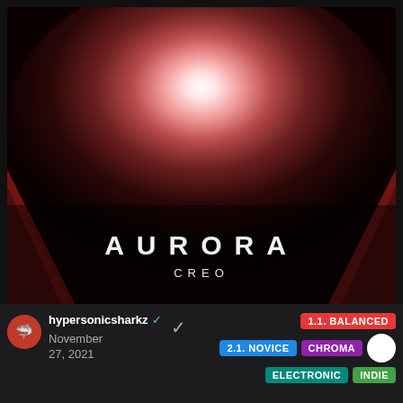[Figure (illustration): Album artwork for 'Aurora' by Creo — dark background with a bright pinkish-white radial glow/explosion in the center, smoke or cloud-like texture surrounding the bright core, dark reddish panels on lower left and right, text 'AURORA' in large spaced white letters and 'CREO' beneath it]
AURORA
CREO
[Figure (logo): Circular avatar with blue/red shark or animal logo for user hypersonicsharkz]
hypersonicsharkz ✓
November 27, 2021
1.1. BALANCED
2.1. NOVICE
CHROMA
ELECTRONIC
INDIE